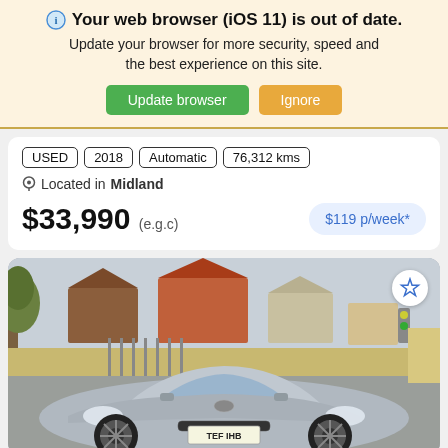Your web browser (iOS 11) is out of date. Update your browser for more security, speed and the best experience on this site.
Update browser | Ignore
USED | 2018 | Automatic | 76,312 kms
Located in Midland
$33,990 (e.g.c)
$119 p/week*
[Figure (photo): Silver Nissan 370Z sports car with license plate TEF IHB, parked in a suburban street with houses and trees in the background.]